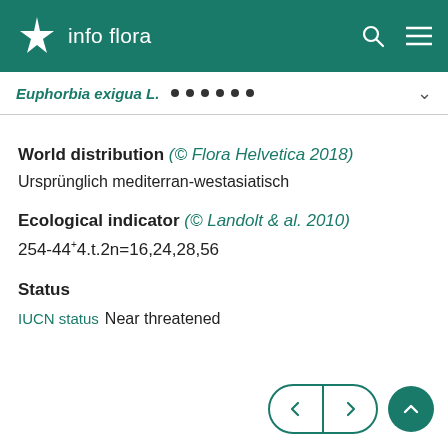info flora
Euphorbia exigua L.
World distribution (© Flora Helvetica 2018)
Ursprünglich mediterran-westasiatisch
Ecological indicator (© Landolt & al. 2010)
254-44⁺4.t.2n=16,24,28,56
Status
IUCN status Near threatened